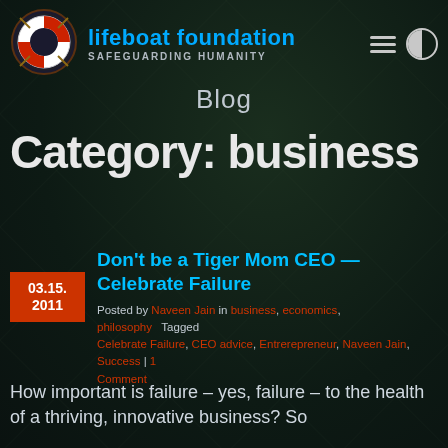[Figure (logo): Lifeboat Foundation logo: lifeboat ring with red and white stripes, with text 'lifeboat foundation' in blue and 'SAFEGUARDING HUMANITY' in gray below]
lifeboat foundation SAFEGUARDING HUMANITY
Blog
Category: business
Don't be a Tiger Mom CEO — Celebrate Failure
Posted by Naveen Jain in business, economics, philosophy   Tagged Celebrate Failure, CEO advice, Entrerepreneur, Naveen Jain, Success | 1 Comment
How important is failure – yes, failure – to the health of a thriving, innovative business? So